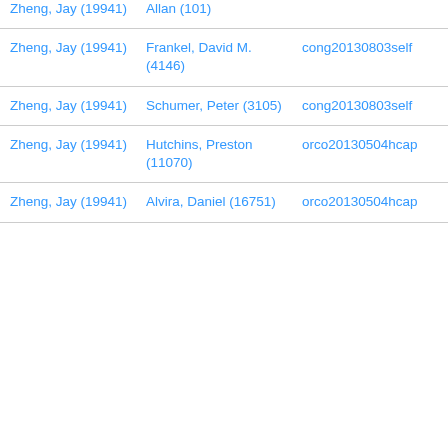| Zheng, Jay (19941) | Allan (101) |  |
| Zheng, Jay (19941) | Frankel, David M. (4146) | cong20130803self |
| Zheng, Jay (19941) | Schumer, Peter (3105) | cong20130803self |
| Zheng, Jay (19941) | Hutchins, Preston (11070) | orco20130504hcap |
| Zheng, Jay (19941) | Alvira, Daniel (16751) | orco20130504hcap |